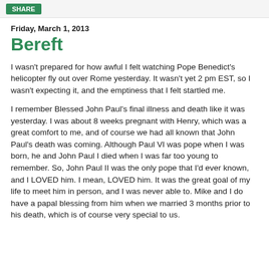SHARE
Friday, March 1, 2013
Bereft
I wasn't prepared for how awful I felt watching Pope Benedict's helicopter fly out over Rome yesterday. It wasn't yet 2 pm EST, so I wasn't expecting it, and the emptiness that I felt startled me.
I remember Blessed John Paul's final illness and death like it was yesterday. I was about 8 weeks pregnant with Henry, which was a great comfort to me, and of course we had all known that John Paul's death was coming. Although Paul VI was pope when I was born, he and John Paul I died when I was far too young to remember. So, John Paul II was the only pope that I'd ever known, and I LOVED him. I mean, LOVED him. It was the great goal of my life to meet him in person, and I was never able to. Mike and I do have a papal blessing from him when we married 3 months prior to his death, which is of course very special to us.